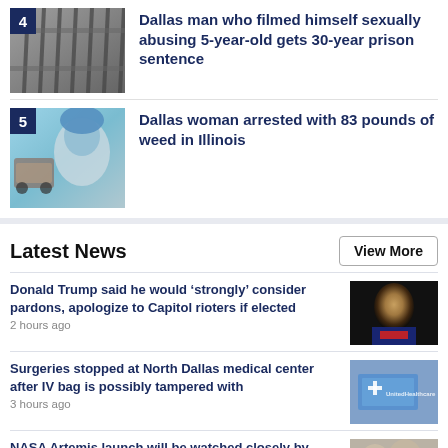[Figure (photo): Prison bars / jail corridor photo with rank badge number 4]
Dallas man who filmed himself sexually abusing 5-year-old gets 30-year prison sentence
[Figure (photo): Woman with blue hair alongside image of car with drugs, rank badge number 5]
Dallas woman arrested with 83 pounds of weed in Illinois
Latest News
View More
Donald Trump said he would ‘strongly’ consider pardons, apologize to Capitol rioters if elected
2 hours ago
[Figure (photo): Donald Trump photo in dark background wearing red tie]
Surgeries stopped at North Dallas medical center after IV bag is possibly tampered with
3 hours ago
[Figure (photo): UnitedHealthcare medical building sign]
NASA Artemis launch will be watched closely by
[Figure (photo): People watching launch, partial image]